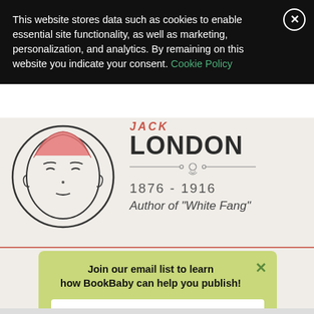This website stores data such as cookies to enable essential site functionality, as well as marketing, personalization, and analytics. By remaining on this website you indicate your consent. Cookie Policy
[Figure (illustration): Line-art illustration of Jack London's face in a circular frame with decorative border]
JACK LONDON
1876 - 1916
Author of "White Fang"
Join our email list to learn how BookBaby can help you publish!
Your email
Sign Me Up